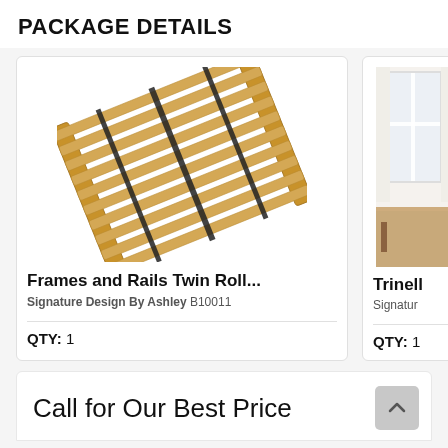PACKAGE DETAILS
[Figure (photo): Frames and Rails Twin Roll slat base product photo on white background]
Frames and Rails Twin Roll...
Signature Design By Ashley B10011
QTY: 1
[Figure (photo): Trinell bedroom product partially visible, room setting photo]
Trinell
Signatur
QTY: 1
Call for Our Best Price